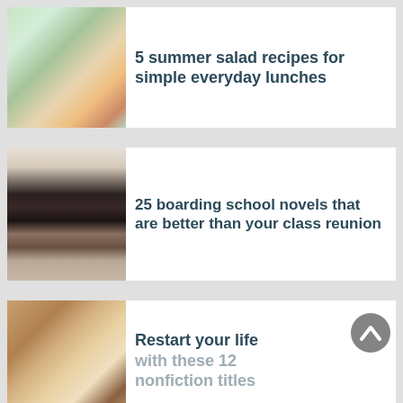[Figure (photo): Overhead view of a colorful summer salad in a white bowl with tomatoes, onions, cucumbers and greens]
5 summer salad recipes for simple everyday lunches
[Figure (photo): Stack of boarding school novels including Catherine House by Elisabeth Thomas on a desk with colored pencils]
25 boarding school novels that are better than your class reunion
[Figure (photo): Latte coffee in a dark mug on a wooden table next to an open notebook and a pen]
Restart your life with these 12 nonfiction titles